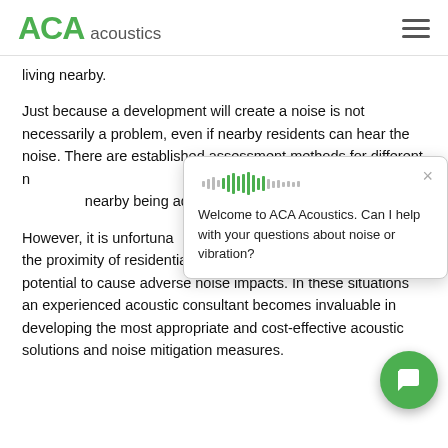ACA acoustics
living nearby.
Just because a development will create a noise is not necessarily a problem, even if nearby residents can hear the noise.  There are established assessment methods for different n... consultants use to dete... nearby being adversely...
However, it is unfortuna... developments the proximity of residential dwellings means that there is the potential to cause adverse noise impacts.  In these situations an experienced acoustic consultant becomes invaluable in developing the most appropriate and cost-effective acoustic solutions and noise mitigation measures.
[Figure (screenshot): Chat widget popup from ACA Acoustics with audio waveform icon, close button (×), and message: 'Welcome to ACA Acoustics. Can I help with your questions about noise or vibration?'. Green circular chat bubble button in bottom right.]